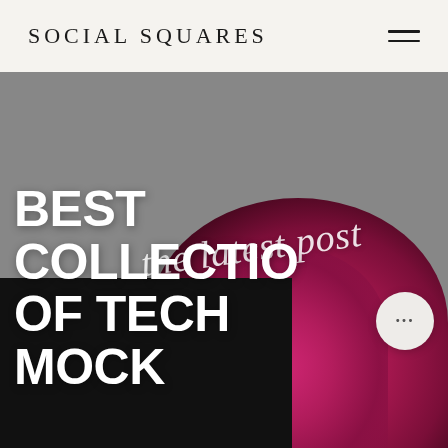SOCIAL SQUARES
[Figure (photo): Hero section with gray background fading into pink/magenta flowers (peonies/ranunculus) in the bottom right, black overlay box in the bottom left, cursive script 'the latest post' and bold headline 'BEST COLLECTION OF TECH MOCK' overlaid]
the latest post
BEST COLLECTION OF TECH MOCK